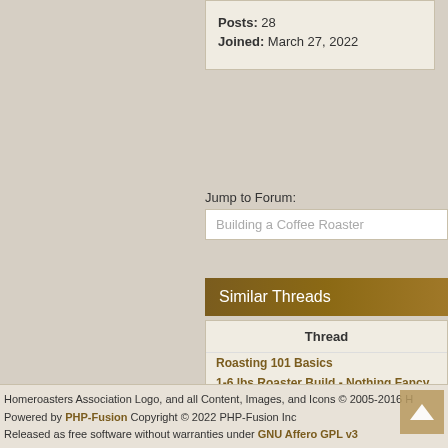Posts: 28
Joined: March 27, 2022
Jump to Forum:
Building a Coffee Roaster
Similar Threads
| Thread |
| --- |
| Roasting 101 Basics |
| 1-6 lbs Roaster Build - Nothing Fancy |
| Roasting with West Bend Poppery I |
| how to build the Hive Roaster |
| Starting a TO build |
Homeroasters Association Logo, and all Content, Images, and Icons © 2005-2016 H
Powered by PHP-Fusion Copyright © 2022 PHP-Fusion Inc
Released as free software without warranties under GNU Affero GPL v3